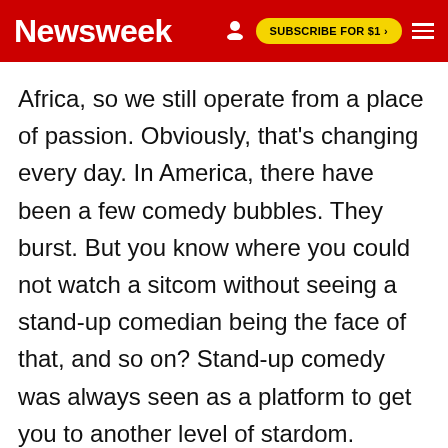Newsweek | SUBSCRIBE FOR $1 >
Africa, so we still operate from a place of passion. Obviously, that's changing every day. In America, there have been a few comedy bubbles. They burst. But you know where you could not watch a sitcom without seeing a stand-up comedian being the face of that, and so on? Stand-up comedy was always seen as a platform to get you to another level of stardom. Whereas I come from a world where stand-up comedy is the platform to a place of truth.